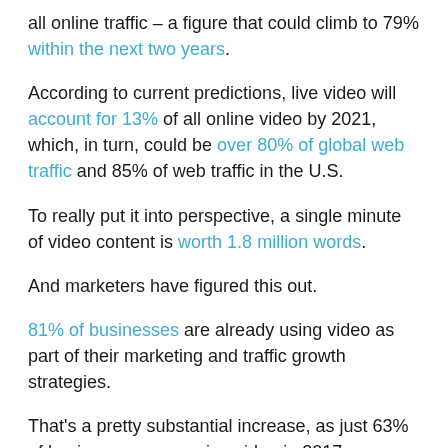all online traffic – a figure that could climb to 79% within the next two years.
According to current predictions, live video will account for 13% of all online video by 2021, which, in turn, could be over 80% of global web traffic and 85% of web traffic in the U.S.
To really put it into perspective, a single minute of video content is worth 1.8 million words.
And marketers have figured this out.
81% of businesses are already using video as part of their marketing and traffic growth strategies.
That's a pretty substantial increase, as just 63% of businesses were using video in 2017.